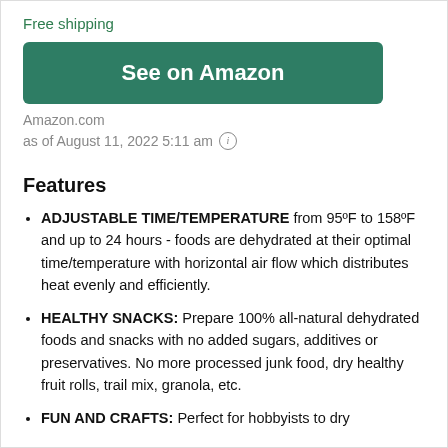Free shipping
[Figure (other): Green 'See on Amazon' button]
Amazon.com
as of August 11, 2022 5:11 am ℹ
Features
ADJUSTABLE TIME/TEMPERATURE from 95ºF to 158ºF and up to 24 hours - foods are dehydrated at their optimal time/temperature with horizontal air flow which distributes heat evenly and efficiently.
HEALTHY SNACKS: Prepare 100% all-natural dehydrated foods and snacks with no added sugars, additives or preservatives. No more processed junk food, dry healthy fruit rolls, trail mix, granola, etc.
FUN AND CRAFTS: Perfect for hobbyists to dry